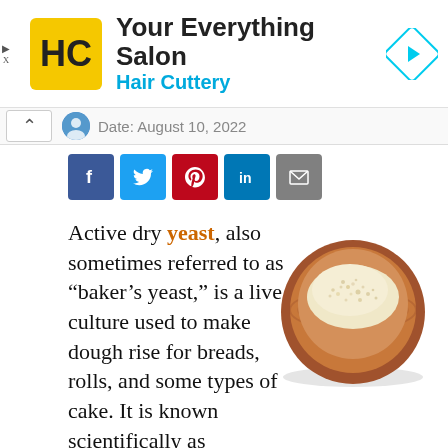[Figure (logo): Hair Cuttery ad banner with HC logo in yellow square, text 'Your Everything Salon Hair Cuttery', and navigation arrow icon]
Date: August 10, 2022
[Figure (infographic): Social share buttons: Facebook, Twitter, Pinterest, LinkedIn, Email]
Active dry yeast, also sometimes referred to as “baker’s yeast,” is a live culture used to make dough rise for breads, rolls, and some types of cake. It is known scientifically as Saccharomyces cerivisiae. Unlike wet yeasts, dry versions are dormant
[Figure (photo): A wooden bowl filled with active dry yeast granules, viewed from above]